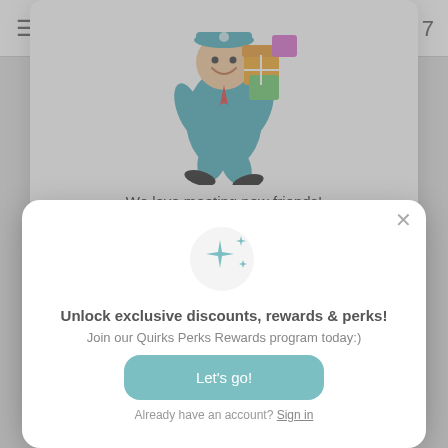[Figure (screenshot): Website background with top navigation bar showing hamburger menu icon on left and number 7 on right]
[Figure (illustration): Cartoon delivery man in teal uniform carrying colorful gift boxes, partially visible behind front modal]
We love meeting new friends!
15% OFF
[Figure (illustration): Teal sparkle/stars icon decorative element]
Unlock exclusive discounts, rewards & perks!
Join our Quirks Perks Rewards program today:)
Let's go!
Already have an account? Sign in